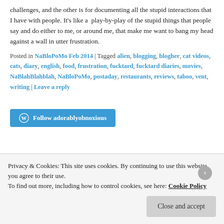challenges, and the other is for documenting all the stupid interactions that I have with people. It's like a play-by-play of the stupid things that people say and do either to me, or around me, that make me want to bang my head against a wall in utter frustration.
Posted in NaBloPoMo Feb 2014 | Tagged alien, blogging, blogher, cat videos, cats, diary, english, food, frustration, fucktard, fucktard diaries, movies, NaBlahBlahblah, NaBloPoMo, postaday, restaurants, reviews, taboo, vent, writing | Leave a reply
[Figure (other): Follow adorablyobnoxious button with WordPress logo]
Privacy & Cookies: This site uses cookies. By continuing to use this website, you agree to their use.
To find out more, including how to control cookies, see here: Cookie Policy
Close and accept